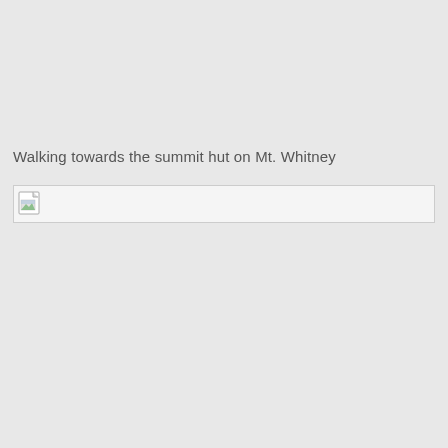Walking towards the summit hut on Mt. Whitney
[Figure (photo): Broken/missing image placeholder showing a small image icon with a border, representing a photo of walking towards the summit hut on Mt. Whitney]